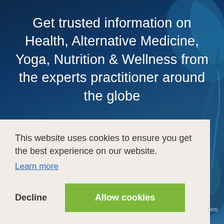[Figure (photo): Dark blue background with plant/nature imagery on the right side, representing a health and wellness website header]
Get trusted information on Health, Alternative Medicine, Yoga, Nutrition & Wellness from the experts practitioner around the globe
Our Expert Panel
Join Our Expert Panel
Advertise With Us
This website uses cookies to ensure you get the best experience on our website.
Learn more
Decline
Allow cookies